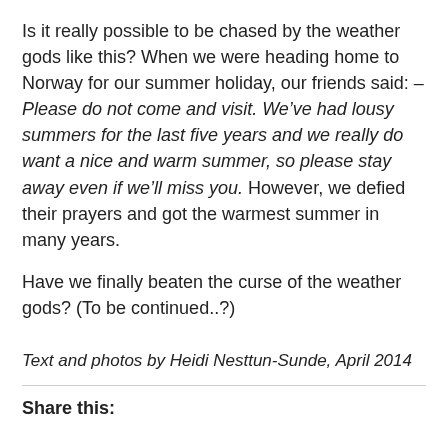Is it really possible to be chased by the weather gods like this? When we were heading home to Norway for our summer holiday, our friends said: –Please do not come and visit. We've had lousy summers for the last five years and we really do want a nice and warm summer, so please stay away even if we'll miss you. However, we defied their prayers and got the warmest summer in many years.
Have we finally beaten the curse of the weather gods? (To be continued..?)
Text and photos by Heidi Nesttun-Sunde, April 2014
Share this: